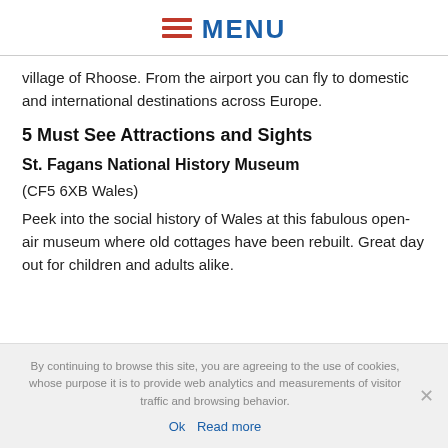MENU
village of Rhoose. From the airport you can fly to domestic and international destinations across Europe.
5 Must See Attractions and Sights
St. Fagans National History Museum
(CF5 6XB Wales)
Peek into the social history of Wales at this fabulous open-air museum where old cottages have been rebuilt. Great day out for children and adults alike.
By continuing to browse this site, you are agreeing to the use of cookies, whose purpose it is to provide web analytics and measurements of visitor traffic and browsing behavior.